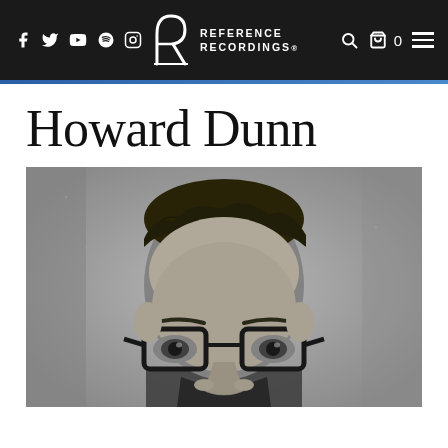Reference Recordings — navigation bar with social icons, logo, search, cart, and menu
Howard Dunn
[Figure (photo): Black and white portrait photograph of Howard Dunn, a man with curly dark hair and thick-framed glasses, cropped at approximately chin level showing his face and upper forehead.]